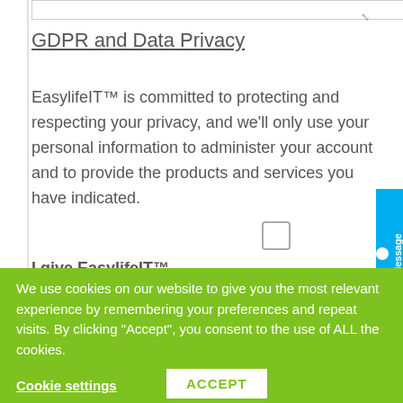GDPR and Data Privacy
EasylifeIT™ is committed to protecting and respecting your privacy, and we'll only use your personal information to administer your account and to provide the products and services you have indicated.
I give EasylifeIT™ permission to contact me via
We use cookies on our website to give you the most relevant experience by remembering your preferences and repeat visits. By clicking "Accept", you consent to the use of ALL the cookies.
Cookie settings
ACCEPT